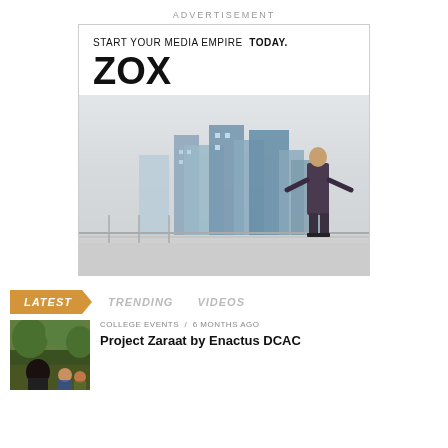ADVERTISEMENT
[Figure (illustration): ZOX media theme advertisement banner with tagline 'START YOUR MEDIA EMPIRE TODAY.', large ZOX logo, teal Buy Now button, and background image of a businessman overlooking a city skyline]
LATEST   TRENDING   VIDEOS
COLLEGE EVENTS / 6 months ago
Project Zaraat by Enactus DCAC